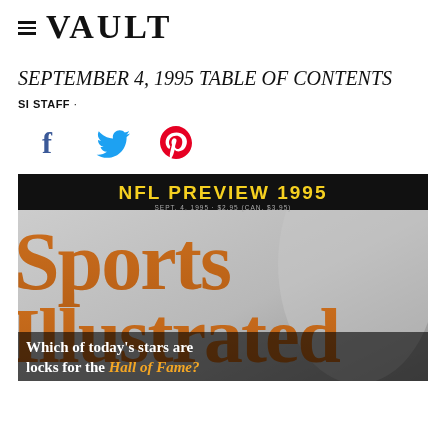VAULT
SEPTEMBER 4, 1995 TABLE OF CONTENTS
SI STAFF ·
[Figure (illustration): Social media share icons: Facebook (blue f), Twitter (blue bird), Pinterest (red P)]
[Figure (photo): Sports Illustrated magazine cover dated September 4, 1995. Black banner at top reads 'NFL PREVIEW 1995' in yellow text. Large orange Sports Illustrated logo text. Bottom overlay text reads 'Which of today's stars are locks for the Hall of Fame?']